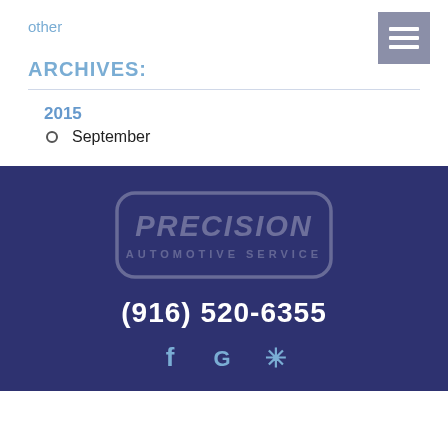other
ARCHIVES:
2015
September
[Figure (logo): Precision Automotive Service logo — white rounded rectangle outline with 'PRECISION' in large bold italic letters and 'AUTOMOTIVE SERVICE' in smaller spaced letters below, on dark navy background]
(916) 520-6355
[Figure (other): Social media icons: Facebook (f), Google (G), Yelp (asterisk/star) in light blue on dark navy background]